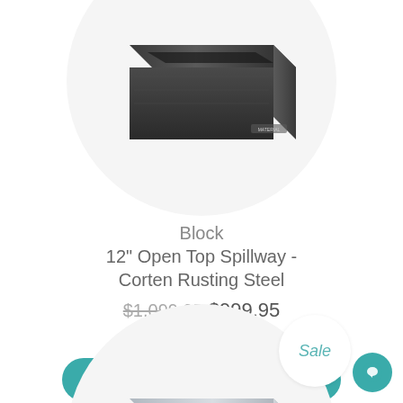[Figure (photo): Product photo of a dark rusted corten steel block open top spillway in a circular frame]
Block
12" Open Top Spillway - Corten Rusting Steel
$1,099.95 $999.95
See More Details & Buy
Sale
[Figure (photo): Product photo of a brushed stainless steel open top spillway in a circular frame]